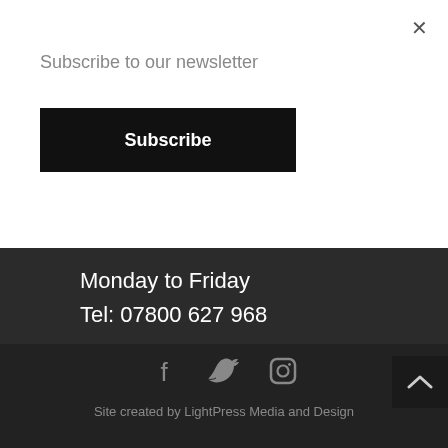×
Subscribe to our newsletter
Subscribe
Monday to Friday
Tel: 07800 627 968
[Figure (illustration): Social media icons: Facebook, Twitter, Instagram]
Site created by LightPress Media and Design